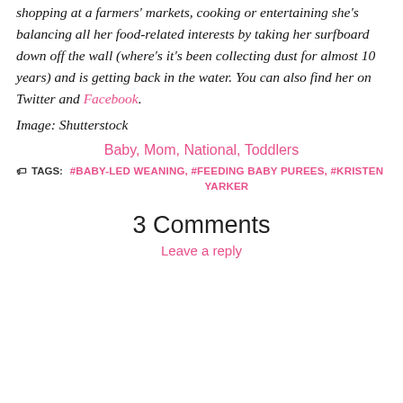shopping at a farmers' markets, cooking or entertaining she's balancing all her food-related interests by taking her surfboard down off the wall (where's it's been collecting dust for almost 10 years) and is getting back in the water. You can also find her on Twitter and Facebook.
Image: Shutterstock
Baby, Mom, National, Toddlers
TAGS: #BABY-LED WEANING, #FEEDING BABY PUREES, #KRISTEN YARKER
3 Comments
Leave a reply